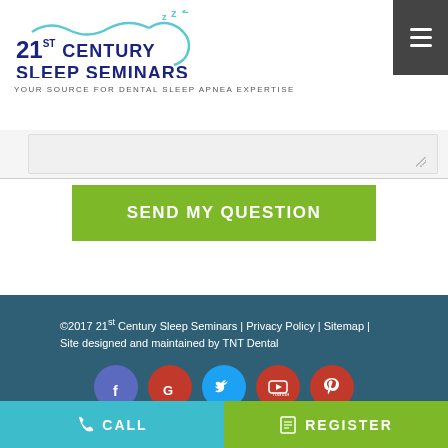[Figure (logo): 21st Century Sleep Seminars logo with wave/sleep graphic and tagline]
[Figure (screenshot): Textarea input field (partially visible) for submitting a question]
SEND MY QUESTION
©2017 21st Century Sleep Seminars | Privacy Policy | Sitemap | Site designed and maintained by TNT Dental
[Figure (infographic): Social media icons: Facebook, Google, Twitter, YouTube, Pinterest, Instagram]
CALL | REGISTER